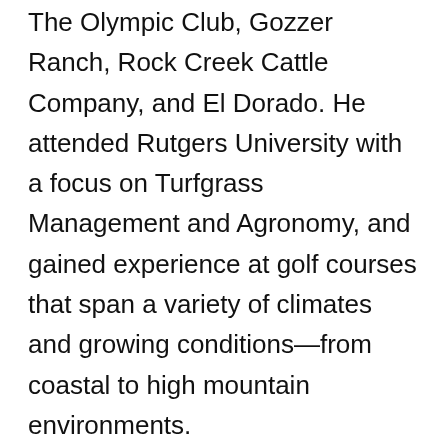The Olympic Club, Gozzer Ranch, Rock Creek Cattle Company, and El Dorado. He attended Rutgers University with a focus on Turfgrass Management and Agronomy, and gained experience at golf courses that span a variety of climates and growing conditions—from coastal to high mountain environments.
Driven by his passion for the game of golf, he's developed a turf management style that values aesthetics while holding playability paramount.